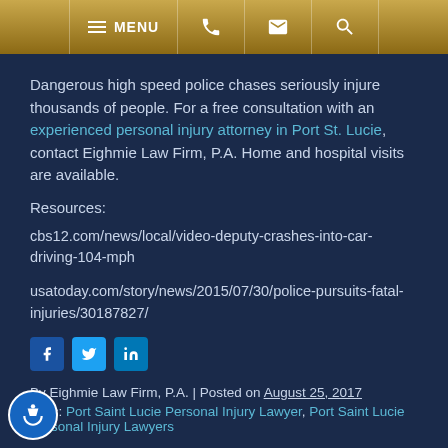MENU [phone] [email] [search]
Dangerous high speed police chases seriously injure thousands of people. For a free consultation with an experienced personal injury attorney in Port St. Lucie, contact Eighmie Law Firm, P.A. Home and hospital visits are available.
Resources:
cbs12.com/news/local/video-deputy-crashes-into-car-driving-104-mph
usatoday.com/story/news/2015/07/30/police-pursuits-fatal-injuries/30187827/
[Figure (other): Social media share buttons: Facebook, Twitter, LinkedIn]
By Eighmie Law Firm, P.A. | Posted on August 25, 2017
Tags: Port Saint Lucie Personal Injury Lawyer, Port Saint Lucie Personal Injury Lawyers